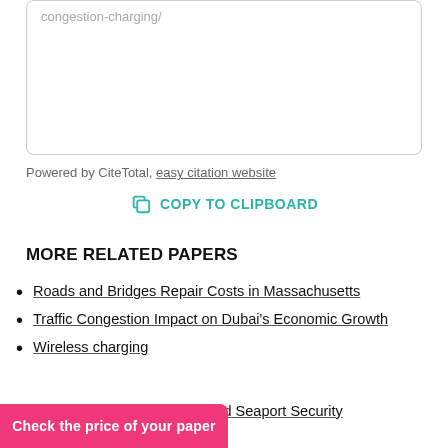congestion-charging/
Powered by CiteTotal, easy citation website
COPY TO CLIPBOARD
MORE RELATED PAPERS
Roads and Bridges Repair Costs in Massachusetts
Traffic Congestion Impact on Dubai's Economic Growth
Wireless charging
Transportation Congestion and Seaport Security FM
Check the price of your paper